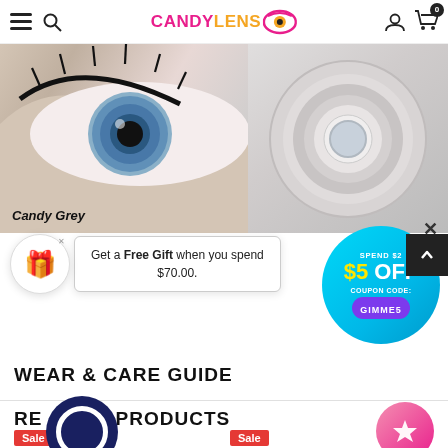CandyLens — navigation header with hamburger menu, search, logo, account, cart (0)
[Figure (photo): Close-up hero image of a human eye with a grey colored contact lens and a lens case on the right. Text overlay reads 'Candy Grey' in italic.]
Get a Free Gift when you spend $70.00.
[Figure (infographic): Cyan circular coupon graphic: SPEND $2[0]+ / $5 OFF / COUPON CODE: GIMME5]
WEAR & CARE GUIDE
RELATED PRODUCTS
Sale
Sale